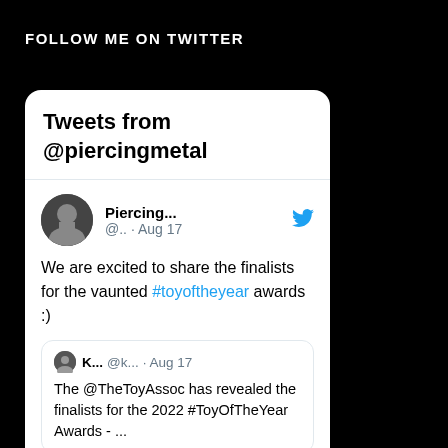FOLLOW ME ON TWITTER
[Figure (screenshot): Twitter widget showing 'Tweets from @piercingmetal' with a tweet from Piercing... (@.. · Aug 17) saying 'We are excited to share the finalists for the vaunted #toyoftheyear awards :)' and a quoted tweet from K... (@k... · Aug 17) saying 'The @TheToyAssoc has revealed the finalists for the 2022 #ToyOfTheYear Awards - ...']